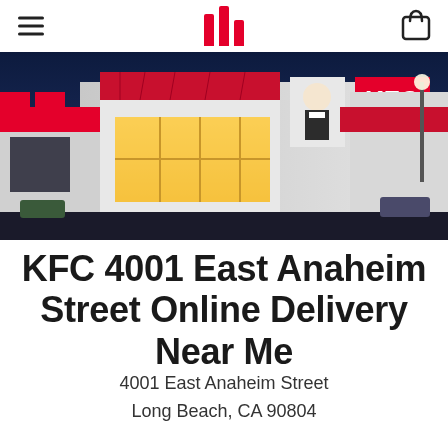KFC navigation bar with hamburger menu, KFC logo bars, and bag icon
[Figure (photo): KFC restaurant exterior at night with red awnings, illuminated storefront, Colonel Sanders logo, and KFC sign]
KFC 4001 East Anaheim Street Online Delivery Near Me
4001 East Anaheim Street
Long Beach, CA 90804